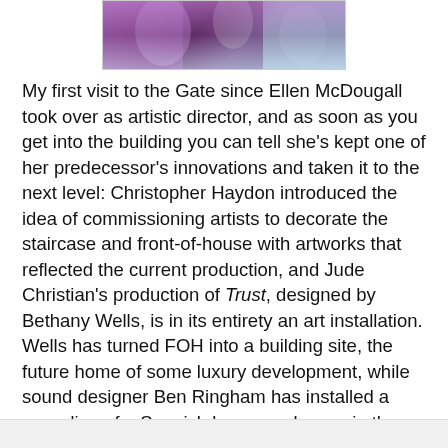[Figure (photo): Partial view of a colorful artistic/theatrical image with purple, pink, and blue tones]
My first visit to the Gate since Ellen McDougall took over as artistic director, and as soon as you get into the building you can tell she's kept one of her predecessor's innovations and taken it to the next level: Christopher Haydon introduced the idea of commissioning artists to decorate the staircase and front-of-house with artworks that reflected the current production, and Jude Christian's production of Trust, designed by Bethany Wells, is in its entirety an art installation. Wells has turned FOH into a building site, the future home of some luxury development, while sound designer Ben Ringham has installed a recording of a Spanish language lesson in the toilets. Christian's own installation is, essentially, the director herself – she's set up a bedroom at the edge of the auditorium and has moved into it for the duration of the play's run, and also appears in the show as one of the performers alongside Pia Laborde Noguez and Zephryn Taitte.